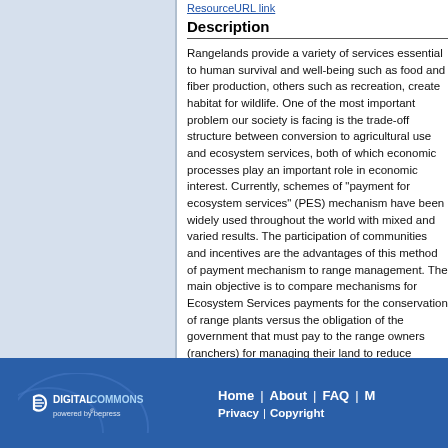ResourceURL link (truncated)
Description
Rangelands provide a variety of services essential to human survival and well-being such as food and fiber production, others such as recreation, create habitat for wildlife. One of the most important problem our society is facing is the trade-off structure between conversion to agricultural use and ecosystem services, both of which economic processes play an important role in economic interest. Currently, schemes of "payment for ecosystem services" (PES) mechanism have been widely used throughout the world with mixed and varied results. The participation of communities and incentives are the advantages of this method of payment mechanism to range management. The main objective is to compare mechanisms for Ecosystem Services payments for the conservation of range plants versus the obligation of the government that must pay to the range owners (ranchers) for managing their land to reduce overgrazing and erosion. However, there is shortage of s
Home | About | FAQ | M  Privacy | Copyright  DIGITAL COMMONS powered by bepress